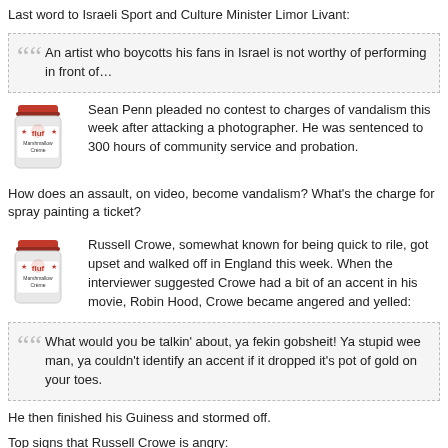Last word to Israeli Sport and Culture Minister Limor Livant:
An artist who boycotts his fans in Israel is not worthy of performing in front of…
[Figure (illustration): Jar of Fluff (marshmallow spread) icon]
Sean Penn pleaded no contest to charges of vandalism this week after attacking a photographer. He was sentenced to 300 hours of community service and probation.
How does an assault, on video, become vandalism? What's the charge for spray painting a ticket?
[Figure (illustration): Jar of Fluff (marshmallow spread) icon]
Russell Crowe, somewhat known for being quick to rile, got upset and walked off in England this week. When the interviewer suggested Crowe had a bit of an accent in his movie, Robin Hood, Crowe became angered and yelled:
What would you be talkin' about, ya fekin gobsheit! Ya stupid wee man, ya couldn't identify an accent if it dropped it's pot of gold on your toes.
He then finished his Guiness and stormed off.
Top signs that Russell Crowe is angry:
Puts a petrol bomb under your bonnet.